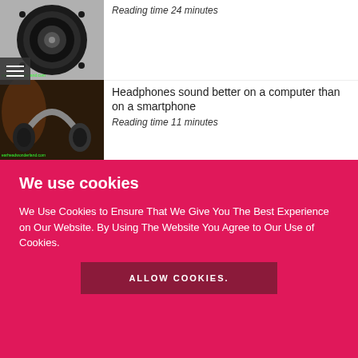[Figure (photo): Speaker driver close-up photo, dark circular speaker with metallic details]
Reading time 24 minutes
[Figure (photo): Headphones close-up photo, dark headphones on dark background]
Headphones sound better on a computer than on a smartphone
Reading time 11 minutes
We use cookies
We Use Cookies to Ensure That We Give You The Best Experience on Our Website. By Using The Website You Agree to Our Use of Cookies.
ALLOW COOKIES.